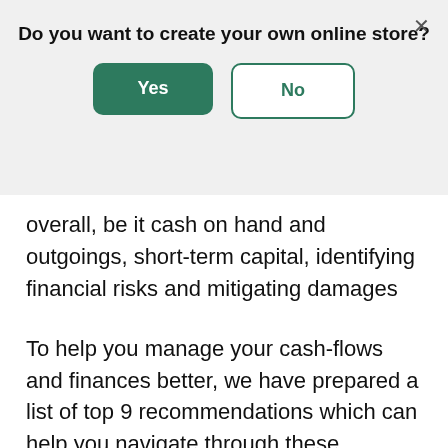Do you want to create your own online store?
overall, be it cash on hand and outgoings, short-term capital, identifying financial risks and mitigating damages
To help you manage your cash-flows and finances better, we have prepared a list of top 9 recommendations which can help you navigate through these uncertain times and be better prepared to take advantage of the recovery.